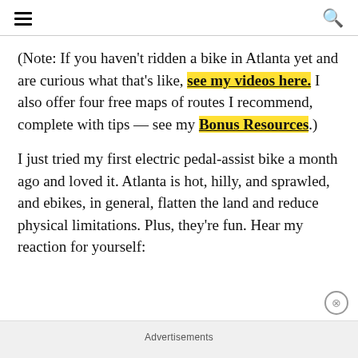☰  🔍
(Note: If you haven't ridden a bike in Atlanta yet and are curious what that's like, see my videos here. I also offer four free maps of routes I recommend, complete with tips — see my Bonus Resources.)
I just tried my first electric pedal-assist bike a month ago and loved it. Atlanta is hot, hilly, and sprawled, and ebikes, in general, flatten the land and reduce physical limitations. Plus, they're fun. Hear my reaction for yourself:
Advertisements